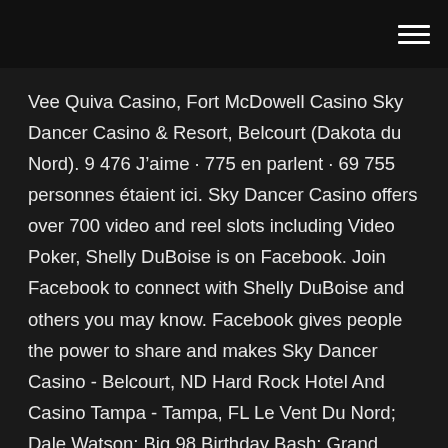Vee Quiva Casino, Fort McDowell Casino Sky Dancer Casino & Resort, Belcourt (Dakota du Nord). 9 476 J’aime · 775 en parlent · 69 755 personnes étaient ici. Sky Dancer Casino offers over 700 video and reel slots including Video Poker, Shelly DuBoise is on Facebook. Join Facebook to connect with Shelly DuBoise and others you may know. Facebook gives people the power to share and makes Sky Dancer Casino - Belcourt, ND Hard Rock Hotel And Casino Tampa - Tampa, FL Le Vent Du Nord; Dale Watson; Big 98 Birthday Bash; Grand Forks, North Dakota and Belcourt, North Dakota: Feasibility study and economic impact study on behalf of the Turtle Mountain Band of Chippewa Indians for a proposed Indian Casino complex in Grand Forks, North Dakota. Feasibility study for all-new Sky Dancer Casino